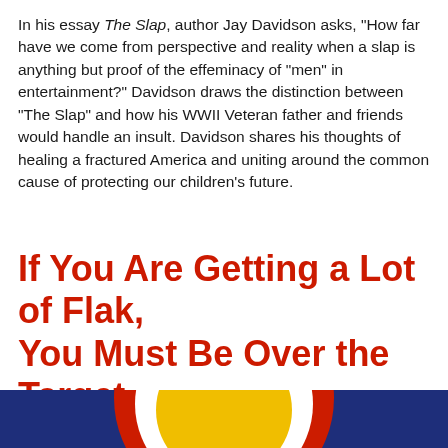In his essay The Slap, author Jay Davidson asks, "How far have we come from perspective and reality when a slap is anything but proof of the effeminacy of "men" in entertainment?" Davidson draws the distinction between "The Slap" and how his WWII Veteran father and friends would handle an insult. Davidson shares his thoughts of healing a fractured America and uniting around the common cause of protecting our children's future.
If You Are Getting a Lot of Flak, You Must Be Over the Target
[Figure (photo): Colorado state flag on dark navy background, showing the partial circular C symbol in red, white and gold, with a reCAPTCHA badge overlay in the bottom left corner]